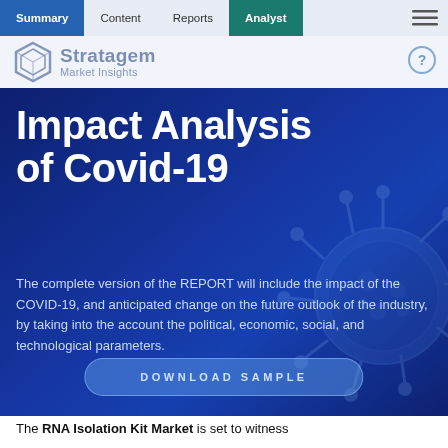Summary | Content | Reports | Analyst
[Figure (screenshot): Stratagem Market Insights logo and navigation bar with hexagon icon]
[Figure (illustration): Dark blue banner with COVID-19 virus illustration background, containing Impact Analysis of Covid-19 title, descriptive text, and a DOWNLOAD SAMPLE button]
Impact Analysis of Covid-19
The complete version of the REPORT will include the impact of the COVID-19, and anticipated change on the future outlook of the industry, by taking into the account the political, economic, social, and technological parameters.
The RNA Isolation Kit Market is set to witness